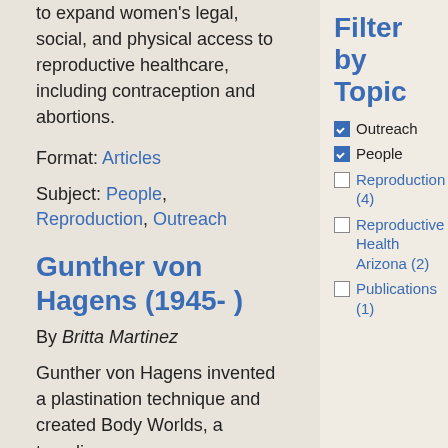to expand women's legal, social, and physical access to reproductive healthcare, including contraception and abortions.
Format: Articles
Subject: People, Reproduction, Outreach
Gunther von Hagens (1945- )
By Britta Martinez
Gunther von Hagens invented a plastination technique and created Body Worlds, a traveling exhibit that has toured...
Filter by Topic
Outreach (checked)
People (checked)
Reproduction (4) (unchecked)
Reproductive Health Arizona (2) (unchecked)
Publications (1) (unchecked)